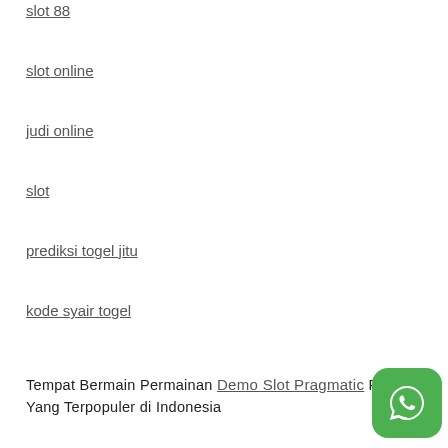slot 88
slot online
judi online
slot
prediksi togel jitu
kode syair togel
Tempat Bermain Permainan Demo Slot Pragmatic Play Yang Terpopuler di Indonesia
[Figure (logo): WhatsApp green button icon]